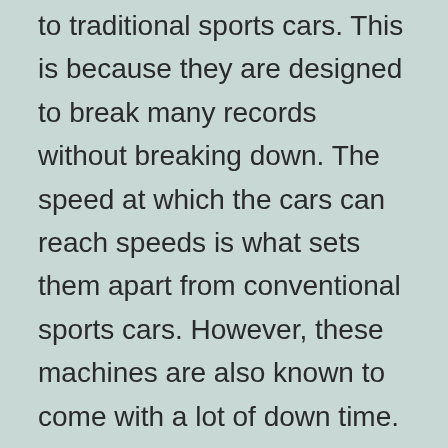to traditional sports cars. This is because they are designed to break many records without breaking down. The speed at which the cars can reach speeds is what sets them apart from conventional sports cars. However, these machines are also known to come with a lot of down time.
Because of this, many owners of Ufa sportbooks opt to maintain the vehicle. They do this by owning multiple vehicles or by purchasing sportbooks that can be used in conjunction with a truck. This way the owner maintains the car in its full capacity while